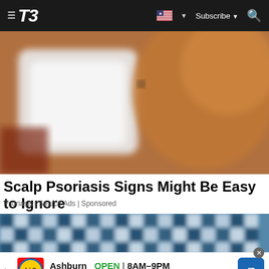T3 — Subscribe | Search
[Figure (photo): Blurred photo of a person looking at a white smartphone or device, with reddish-brown hair visible]
Scalp Psoriasis Signs Might Be Easy to Ignore
Psoriasis | Search Ads | Sponsored
[Figure (photo): Blurred advertisement banner image with tiled square pattern in blue and white tones]
Ashburn OPEN 8AM–9PM 4417 5 Ashbrook Marketplace Plaza,